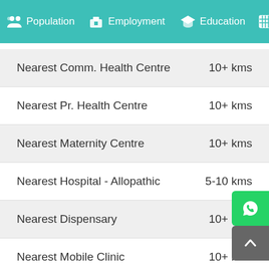Population  Employment  Education  He...
| Facility | Distance |
| --- | --- |
| Nearest Comm. Health Centre | 10+ kms |
| Nearest Pr. Health Centre | 10+ kms |
| Nearest Maternity Centre | 10+ kms |
| Nearest Hospital - Allopathic | 5-10 kms |
| Nearest Dispensary | 10+ kms |
| Nearest Mobile Clinic | 10+ kms |
| Nearest Family Welfare Centre | 5-10 kms |